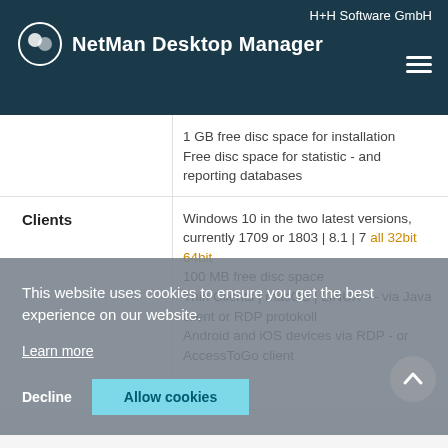H+H Software GmbH — NetMan Desktop Manager
1 GB free disc space for installation
Free disc space for statistic - and reporting databases
Clients
Windows 10 in the two latest versions, currently 1709 or 1803 | 8.1 | 7 all 32bit 64bit
100 MB free disc space
Thin Clients | macOS | LINUX — via Java client or RDP protokoll
Android and iOS devices via RDP - or AccessToGo client
This website uses cookies to ensure you get the best experience on our website.
Learn more